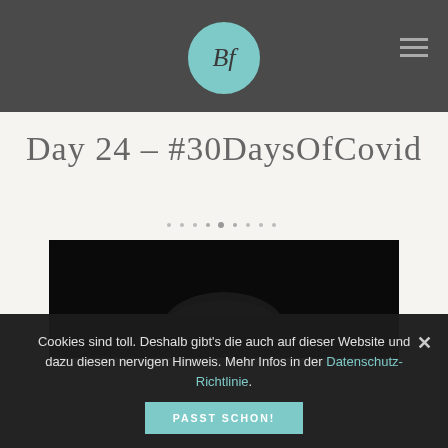BF logo and hamburger menu
Day 24 – #30DaysOfCovid
[Figure (photo): Dark photo showing the top of a person's head with dark hair against a black background]
Cookies sind toll. Deshalb gibt's die auch auf dieser Website und dazu diesen nervigen Hinweis. Mehr Infos in der Datenschutz-Richtlinie.
PASST SCHON!